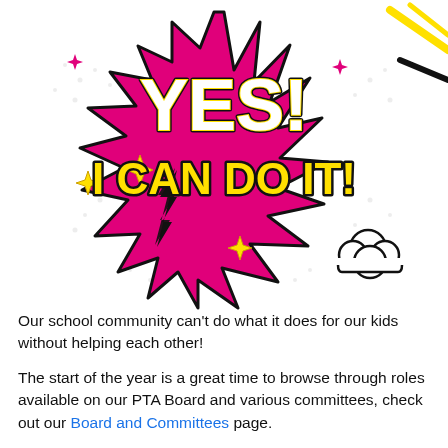[Figure (illustration): Comic-book style pop-art explosion graphic in pink/magenta with yellow and white bold text reading 'YES! I CAN DO IT!' surrounded by stars, lightning bolts, and decorative elements on a white background.]
Our school community can't do what it does for our kids without helping each other!
The start of the year is a great time to browse through roles available on our PTA Board and various committees, check out our Board and Committees page.
Descriptions are available by clicking the name of the role and/or e-mailing the board member/Director listed. To view